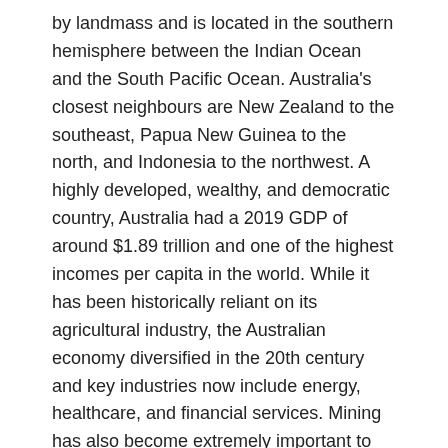by landmass and is located in the southern hemisphere between the Indian Ocean and the South Pacific Ocean. Australia's closest neighbours are New Zealand to the southeast, Papua New Guinea to the north, and Indonesia to the northwest. A highly developed, wealthy, and democratic country, Australia had a 2019 GDP of around $1.89 trillion and one of the highest incomes per capita in the world. While it has been historically reliant on its agricultural industry, the Australian economy diversified in the 20th century and key industries now include energy, healthcare, and financial services. Mining has also become extremely important to the Australian economy: the country is rich in natural resources and, in 2010, the mining industry was estimated to be contributing 8.4% to Australia's GDP. Australia has strong political and trade connections to Asia and the rest of the world, and is a member of the